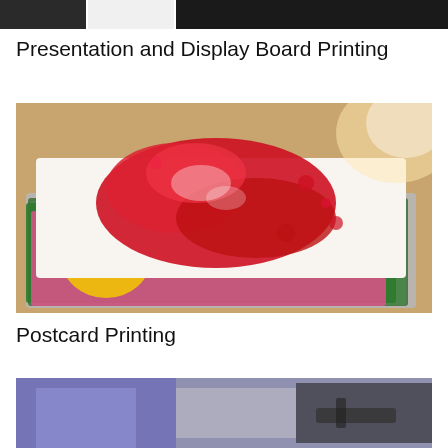[Figure (photo): Partial top strip showing three cropped images: dark image on left, light/white in center, dark image on right]
Presentation and Display Board Printing
[Figure (photo): Stack of colorful printed postcards on a wooden surface, top card shows red splatter art design, with flowers and colorful prints visible underneath, warm glowing light in background]
Postcard Printing
[Figure (photo): Partial image showing a person in purple/blue clothing, blurred background with equipment, cropped at bottom of page]